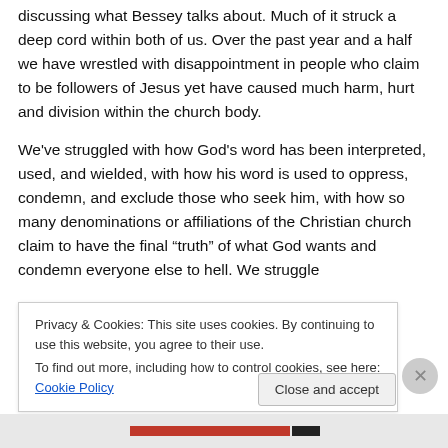discussing what Bessey talks about. Much of it struck a deep cord within both of us. Over the past year and a half we have wrestled with disappointment in people who claim to be followers of Jesus yet have caused much harm, hurt and division within the church body.
We've struggled with how God's word has been interpreted, used, and wielded, with how his word is used to oppress, condemn, and exclude those who seek him, with how so many denominations or affiliations of the Christian church claim to have the final “truth” of what God wants and condemn everyone else to hell. We struggle
Privacy & Cookies: This site uses cookies. By continuing to use this website, you agree to their use.
To find out more, including how to control cookies, see here: Cookie Policy